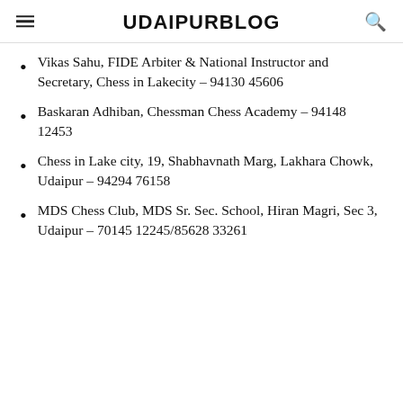UDAIPURBLOG
Vikas Sahu, FIDE Arbiter & National Instructor and Secretary, Chess in Lakecity – 94130 45606
Baskaran Adhiban, Chessman Chess Academy – 94148 12453
Chess in Lake city, 19, Shabhavnath Marg, Lakhara Chowk, Udaipur – 94294 76158
MDS Chess Club, MDS Sr. Sec. School, Hiran Magri, Sec 3, Udaipur – 70145 12245/85628 33261